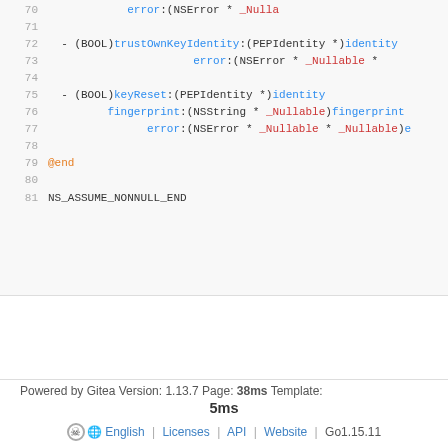[Figure (screenshot): Code viewer showing Objective-C header file lines 70-81 with syntax highlighting. Line 70: error:(NSError * _Nulla, Line 71: empty, Line 72: - (BOOL)trustOwnKeyIdentity:(PEPIdentity *)identity, Line 73: error:(NSError * _Nullable *, Line 74: empty, Line 75: - (BOOL)keyReset:(PEPIdentity *)identity, Line 76: fingerprint:(NSString * _Nullable)fingerprint, Line 77: error:(NSError * _Nullable * _Nullable)e, Line 78: empty, Line 79: @end, Line 80: empty, Line 81: NS_ASSUME_NONNULL_END]
Powered by Gitea Version: 1.13.7 Page: 38ms Template: 5ms | English | Licenses | API | Website | Go1.15.11